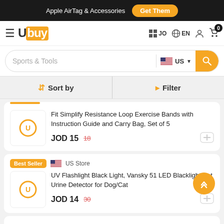Apple AirTag & Accessories  Get Them
[Figure (logo): Ubuy logo with orange background on 'buy' letters]
Sports & Tools  US
Sort by  Filter
Fit Simplify Resistance Loop Exercise Bands with Instruction Guide and Carry Bag, Set of 5  JOD 15  18
Best Seller  US Store  UV Flashlight Black Light, Vansky 51 LED Blacklight Pet Urine Detector for Dog/Cat  JOD 14  30